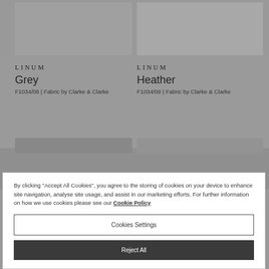[Figure (photo): Grey fabric swatch image, top left]
[Figure (photo): Heather fabric swatch image, top right]
LINUM
Grey
F1034/08 | Fabric by Clarke & Clarke
LINUM
Heather
F1034/09 | Fabric by Clarke & Clarke
By clicking “Accept All Cookies”, you agree to the storing of cookies on your device to enhance site navigation, analyse site usage, and assist in our marketing efforts. For further information on how we use cookies please see our Cookie Policy
Cookies Settings
Reject All